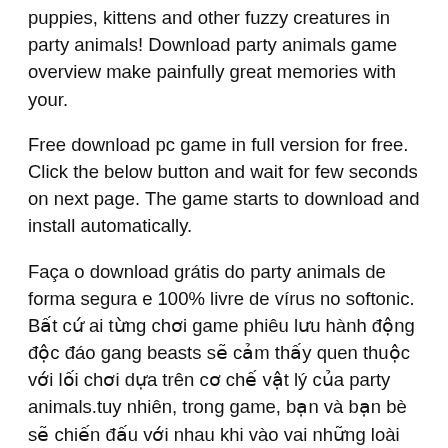puppies, kittens and other fuzzy creatures in party animals! Download party animals game overview make painfully great memories with your.
Free download pc game in full version for free. Click the below button and wait for few seconds on next page. The game starts to download and install automatically.
Faça o download grátis do party animals de forma segura e 100% livre de vírus no softonic. Bất cứ ai từng chơi game phiêu lưu hành động độc đáo gang beasts sẽ cảm thấy quen thuộc với lối chơi dựa trên cơ chế vật lý của party animals.tuy nhiên, trong game, bạn và bạn bè sẽ chiến đấu với nhau khi vào vai những loài động vật như: It is a full and complete game.
Party animals pc game free download. Click the download button to start downloading. We are offering this game in full version for free.
[Figure (other): Close/cancel button icon — a black circle with an X symbol in the center]